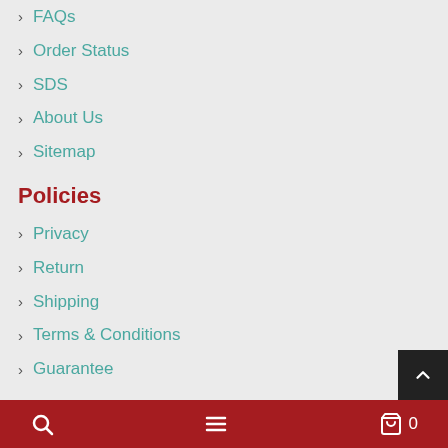FAQs
Order Status
SDS
About Us
Sitemap
Policies
Privacy
Return
Shipping
Terms & Conditions
Guarantee
Volume Discounts
Large volume orders quoted quickly and competitively!
Discounts & Quotes
Search | Menu | Cart 0